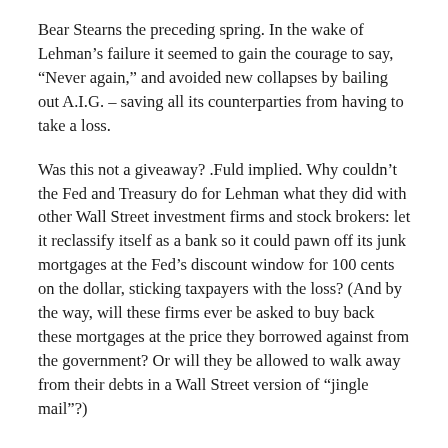Bear Stearns the preceding spring. In the wake of Lehman’s failure it seemed to gain the courage to say, “Never again,” and avoided new collapses by bailing out A.I.G. – saving all its counterparties from having to take a loss.
Was this not a giveaway? .Fuld implied. Why couldn’t the Fed and Treasury do for Lehman what they did with other Wall Street investment firms and stock brokers: let it reclassify itself as a bank so it could pawn off its junk mortgages at the Fed’s discount window for 100 cents on the dollar, sticking taxpayers with the loss? (And by the way, will these firms ever be asked to buy back these mortgages at the price they borrowed against from the government? Or will they be allowed to walk away from their debts in a Wall Street version of “jingle mail”?)